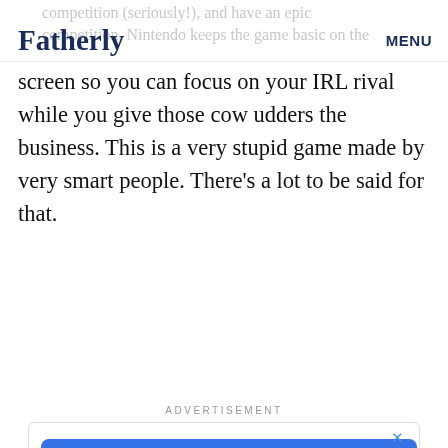Fatherly  MENU
screen so you can focus on your IRL rival while you give those cow udders the business. This is a very stupid game made by very smart people. There’s a lot to be said for that.
ADVERTISEMENT
[Figure (other): Advertisement banner for Furniture Max with blue background. Text reads: 'Furniture Max', 'Buy It Today, Get It Today', 'Local Doesn’t Mean Limited']